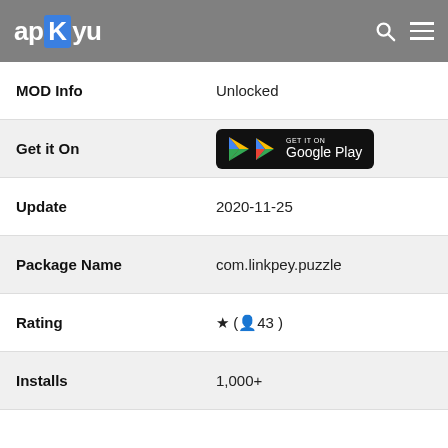apKyu
| Field | Value |
| --- | --- |
| MOD Info | Unlocked |
| Get it On | GET IT ON Google Play |
| Update | 2020-11-25 |
| Package Name | com.linkpey.puzzle |
| Rating | ★ ( 👤 43 ) |
| Installs | 1,000+ |